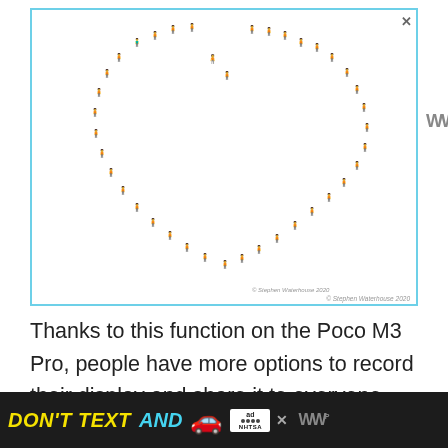[Figure (illustration): Illustration of colorful people figures arranged in a heart shape on white background, with a light blue border. Close button (x) in upper right. Copyright text '© Stephen Waterhouse 2020' at bottom right. Watermark logo (www) at right side outside the border.]
Thanks to this function on the Poco M3 Pro, people have more options to record their display and share it to everyone, either on social media or other platforms
[Figure (infographic): Advertisement banner at bottom. Black background with text 'DON'T TEXT AND' in yellow/cyan italic bold font, followed by a red car emoji. AdChoices logo and NHTSA branding. Close X button and www logo at right.]